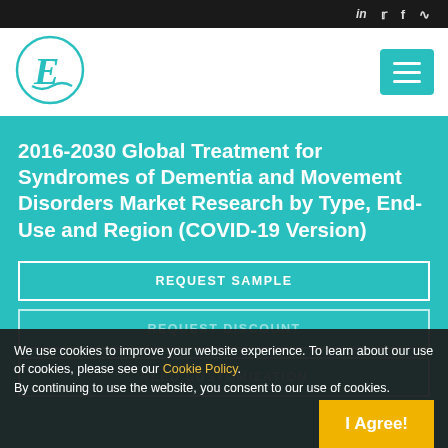Social icons: LinkedIn, Twitter, Facebook, RSS
[Figure (logo): Company logo: circular border with stylized E letter in teal, menu hamburger button in teal on right]
2016-2030 Global Treatment for Syndromes of Dementia and Movement Disorders Market Research by Type, End-Use and Region (COVID-19 Version)
REQUEST SAMPLE
REQUEST DISCOUNT
We use cookies to improve your website experience. To learn about our use of cookies, please see our Cookie Policy. By continuing to use the website, you consent to our use of cookies.
I Agree!
NEED CUSTOMIZATION